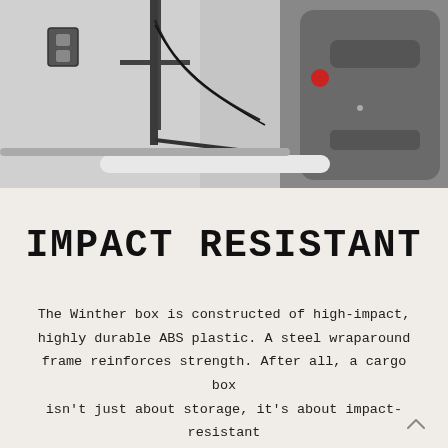[Figure (photo): Close-up interior view of a cargo bike box showing mechanical components, handlebar attachment hardware, red button/knob, black plastic panels, and structural frame elements against a light grey background.]
IMPACT RESISTANT
The Winther box is constructed of high-impact, highly durable ABS plastic. A steel wraparound frame reinforces strength. After all, a cargo box isn't just about storage, it's about impact-resistant storage. Safety first!